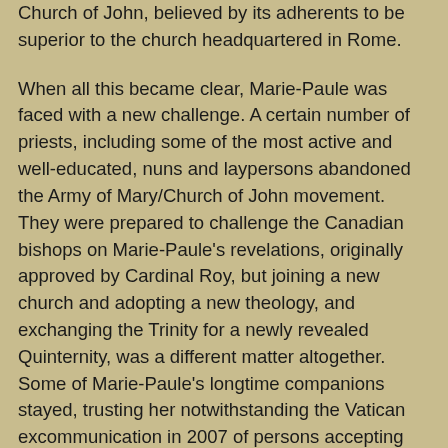Church of John, believed by its adherents to be superior to the church headquartered in Rome.
When all this became clear, Marie-Paule was faced with a new challenge. A certain number of priests, including some of the most active and well-educated, nuns and laypersons abandoned the Army of Mary/Church of John movement. They were prepared to challenge the Canadian bishops on Marie-Paule's revelations, originally approved by Cardinal Roy, but joining a new church and adopting a new theology, and exchanging the Trinity for a newly revealed Quinternity, was a different matter altogether. Some of Marie-Paule's longtime companions stayed, trusting her notwithstanding the Vatican excommunication in 2007 of persons accepting and propagating the movement's doctrines and practices. Socializing younger